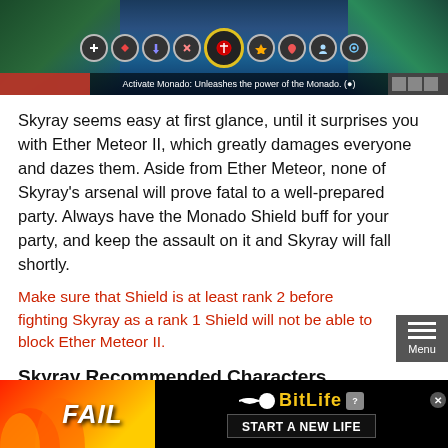[Figure (screenshot): Game screenshot showing a battle scene with HUD icons and a bar at the bottom reading 'Activate Monado: Unleashes the power of the Monado.']
Skyray seems easy at first glance, until it surprises you with Ether Meteor II, which greatly damages everyone and dazes them. Aside from Ether Meteor, none of Skyray's arsenal will prove fatal to a well-prepared party. Always have the Monado Shield buff for your party, and keep the assault on it and Skyray will fall shortly.
Make sure that Shield is at least rank 2 before fighting Skyray as a rank 1 Shield will not be able to block Ether Meteor II.
Skyray Recommended Characters
|  |  | Melia |
| --- | --- | --- |
[Figure (screenshot): Advertisement banner for BitLife game showing a FAIL graphic and 'START A NEW LIFE' text]